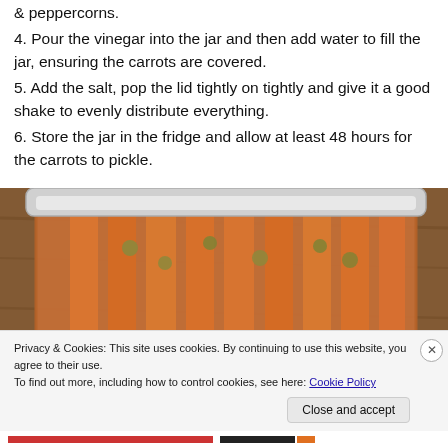& peppercorns.
4. Pour the vinegar into the jar and then add water to fill the jar, ensuring the carrots are covered.
5. Add the salt, pop the lid tightly on tightly and give it a good shake to evenly distribute everything.
6. Store the jar in the fridge and allow at least 48 hours for the carrots to pickle.
[Figure (photo): A glass jar filled with pickled carrots and green peppercorns, sealed with a white metal lid, photographed from above at an angle on a wooden surface.]
Privacy & Cookies: This site uses cookies. By continuing to use this website, you agree to their use.
To find out more, including how to control cookies, see here: Cookie Policy
Close and accept